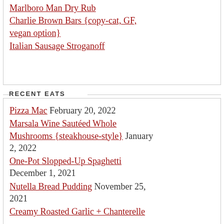Marlboro Man Dry Rub
Charlie Brown Bars {copy-cat, GF, vegan option}
Italian Sausage Stroganoff
RECENT EATS
Pizza Mac February 20, 2022
Marsala Wine Sautéed Whole Mushrooms {steakhouse-style} January 2, 2022
One-Pot Slopped-Up Spaghetti December 1, 2021
Nutella Bread Pudding November 25, 2021
Creamy Roasted Garlic + Chanterelle